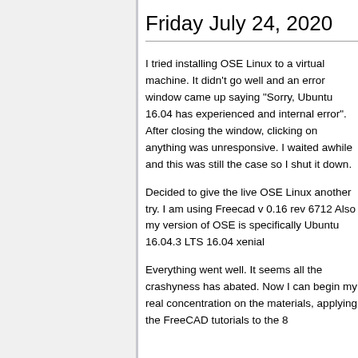Friday July 24, 2020
I tried installing OSE Linux to a virtual machine. It didn't go well and an error window came up saying "Sorry, Ubuntu 16.04 has experienced and internal error". After closing the window, clicking on anything was unresponsive. I waited awhile and this was still the case so I shut it down.
Decided to give the live OSE Linux another try. I am using Freecad v 0.16 rev 6712 Also my version of OSE is specifically Ubuntu 16.04.3 LTS 16.04 xenial
Everything went well. It seems all the crashyness has abated. Now I can begin my real concentration on the materials, applying the FreeCAD tutorials to the 8